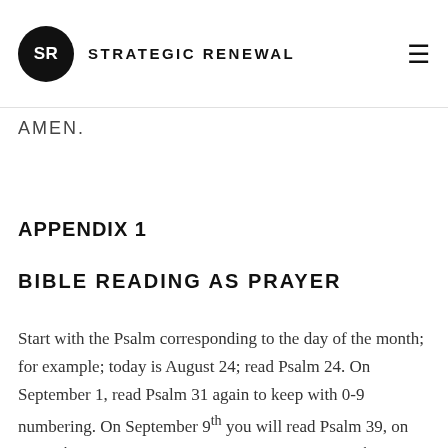SR STRATEGIC RENEWAL
transformed and shaped more and more into the likeness of the Lord Jesus Christ, by the Holy Spirit, for the glory of God the Father.
AMEN.
APPENDIX 1
BIBLE READING AS PRAYER
Start with the Psalm corresponding to the day of the month; for example; today is August 24; read Psalm 24. On September 1, read Psalm 31 again to keep with 0-9 numbering. On September 9th you will read Psalm 39, on the 10th you will read Psalm 40. On September 30th